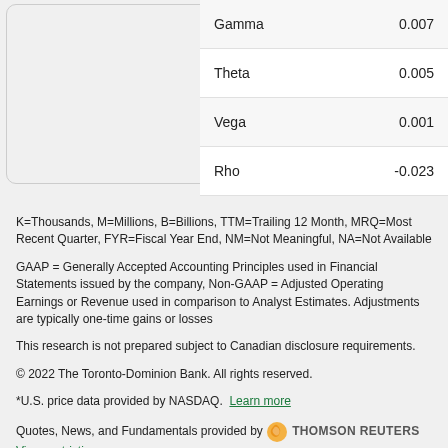|  |  |
| --- | --- |
| Gamma | 0.007 |
| Theta | 0.005 |
| Vega | 0.001 |
| Rho | -0.023 |
K=Thousands, M=Millions, B=Billions, TTM=Trailing 12 Month, MRQ=Most Recent Quarter, FYR=Fiscal Year End, NM=Not Meaningful, NA=Not Available
GAAP = Generally Accepted Accounting Principles used in Financial Statements issued by the company, Non-GAAP = Adjusted Operating Earnings or Revenue used in comparison to Analyst Estimates. Adjustments are typically one-time gains or losses
This research is not prepared subject to Canadian disclosure requirements.
© 2022 The Toronto-Dominion Bank. All rights reserved.
*U.S. price data provided by NASDAQ.  Learn more
Quotes, News, and Fundamentals provided by  THOMSON REUTERS  View restrictions